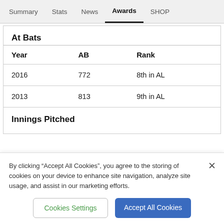Summary  Stats  News  Awards  SHOP
At Bats
| Year | AB | Rank |
| --- | --- | --- |
| 2016 | 772 | 8th in AL |
| 2013 | 813 | 9th in AL |
Innings Pitched
By clicking "Accept All Cookies", you agree to the storing of cookies on your device to enhance site navigation, analyze site usage, and assist in our marketing efforts.
Cookies Settings  Accept All Cookies